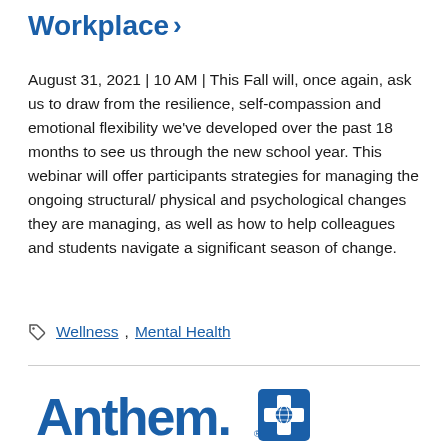Workplace >
August 31, 2021 | 10 AM | This Fall will, once again, ask us to draw from the resilience, self-compassion and emotional flexibility we've developed over the past 18 months to see us through the new school year. This webinar will offer participants strategies for managing the ongoing structural/ physical and psychological changes they are managing, as well as how to help colleagues and students navigate a significant season of change.
Wellness, Mental Health
[Figure (logo): Anthem Blue Cross Blue Shield logo]